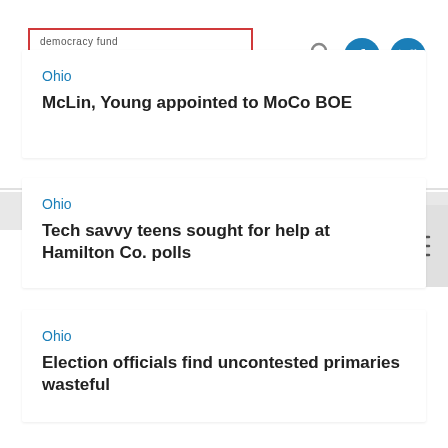democracy fund electionline
Ohio
McLin, Young appointed to MoCo BOE
Ohio
Tech savvy teens sought for help at Hamilton Co. polls
Ohio
Election officials find uncontested primaries wasteful